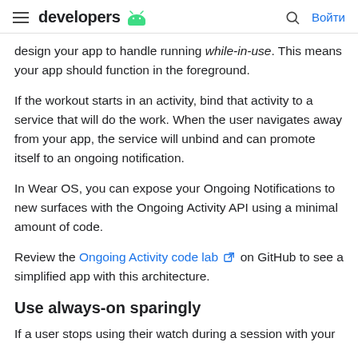developers | Войти
design your app to handle running while-in-use. This means your app should function in the foreground.
If the workout starts in an activity, bind that activity to a service that will do the work. When the user navigates away from your app, the service will unbind and can promote itself to an ongoing notification.
In Wear OS, you can expose your Ongoing Notifications to new surfaces with the Ongoing Activity API using a minimal amount of code.
Review the Ongoing Activity code lab [external link] on GitHub to see a simplified app with this architecture.
Use always-on sparingly
If a user stops using their watch during a session with your